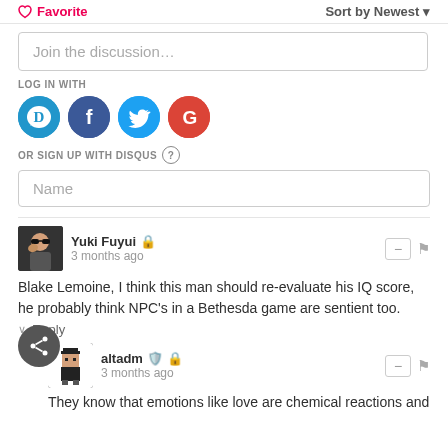Favorite  |  Sort by Newest
Join the discussion…
LOG IN WITH
[Figure (logo): Social login icons: Disqus (D, blue), Facebook (f, dark blue), Twitter (bird, light blue), Google (G, red)]
OR SIGN UP WITH DISQUS ?
Name
Yuki Fuyui  🔒
3 months ago
Blake Lemoine, I think this man should re-evaluate his IQ score, he probably think NPC's in a Bethesda game are sentient too.
Reply
altadm  🛡️ 🔒
3 months ago
They know that emotions like love are chemical reactions and